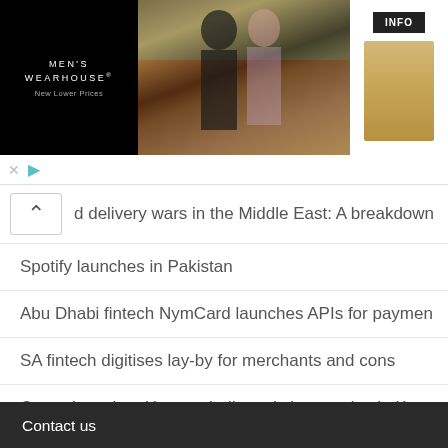[Figure (screenshot): Men's Wearhouse advertisement banner showing a couple in formal wear and a man in a tan suit, with INFO button on the right]
d delivery wars in the Middle East: A breakdown
Spotify launches in Pakistan
Abu Dhabi fintech NymCard launches APIs for paymen
SA fintech digitises lay-by for merchants and cons
Opera launches Hype a dedicated chat service in Ke
Contact us
Disclaimer
Submit Your Site
Submit Free Article / News
Free Classified / Directory
African Government Tenders
Africa News Source